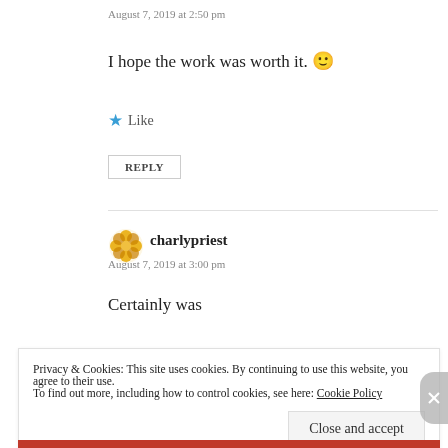August 7, 2019 at 2:50 pm
I hope the work was worth it. 🙂
Like
REPLY
charlypriest
August 7, 2019 at 3:00 pm
Certainly was
Privacy & Cookies: This site uses cookies. By continuing to use this website, you agree to their use. To find out more, including how to control cookies, see here: Cookie Policy
Close and accept